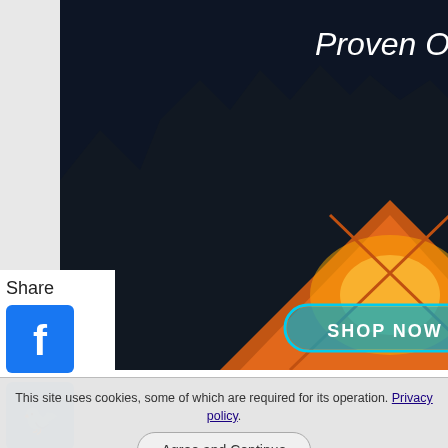[Figure (photo): Outdoor gear advertisement showing illuminated orange tent at night in forest with text 'Proven Outdoor Gear' and 'SHOP NOW' button]
[Figure (photo): Ready Project 72 Hour Survival Kit tactical backpack advertisement showing black backpack with text: 72 HOUR SURVIAL KIT, TACTICAL BACKPACK, 3 DAYS OF FOOD, EMERGENCY DRINKING WATER, OKO FILTRATION, ETON RED CROSS CLIPRAY]
Share
[Figure (logo): Facebook share icon - blue square with white F]
[Figure (logo): Twitter share icon - blue square with white bird]
[Figure (logo): Pinterest share icon - red square with white P]
[Figure (logo): Facebook Messenger share icon - blue circle with lightning bolt]
ady Project
This site uses cookies, some of which are required for its operation. Privacy policy.
Agree and Continue